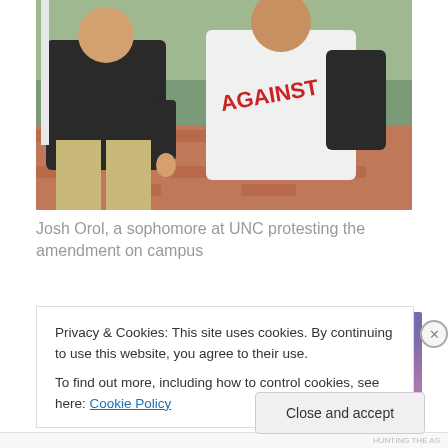[Figure (photo): Two people walking outdoors on a brick path. One person wears a white t-shirt with text reading 'AGAINST' in red on the front. The other person wears a dark sweatshirt and khaki pants.]
Josh Orol, a sophomore at UNC protesting the amendment on campus
[Figure (screenshot): Advertisement banner with blue-to-purple gradient background showing a pink/magenta button labeled 'Build Your Website' and a tan/beige luggage tag hanging from the right side.]
Privacy & Cookies: This site uses cookies. By continuing to use this website, you agree to their use.
To find out more, including how to control cookies, see here: Cookie Policy
Close and accept